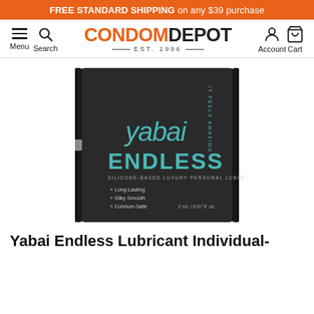FREE STANDARD SHIPPING on any $39 purchase
[Figure (logo): Condom Depot navigation bar with hamburger menu, search icon, CONDOMDEPOT EST. 1996 logo, account icon, and cart icon]
[Figure (photo): Yabai Endless silicone-based luxury personal lubrication individual packet/sachet, dark/black packaging with teal text, showing 'yabai', 'ENDLESS', 'SILICONE-BASED LUXURY PERSONAL LUBRICATION', bullet points: Long-Lasting, Silky Smooth, Condom-Safe, 2 mL / 0.07 fl. oz.]
Yabai Endless Lubricant Individual-